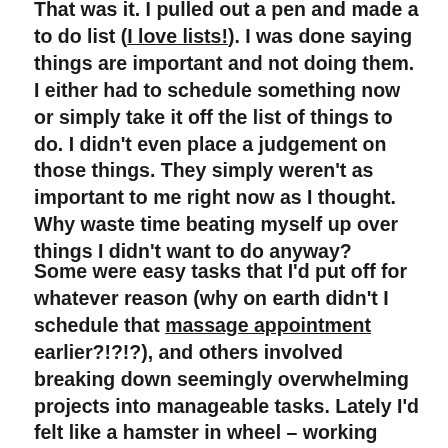That was it. I pulled out a pen and made a to do list (I love lists!). I was done saying things are important and not doing them. I either had to schedule something now or simply take it off the list of things to do. I didn't even place a judgement on those things. They simply weren't as important to me right now as I thought. Why waste time beating myself up over things I didn't want to do anyway?
Some were easy tasks that I'd put off for whatever reason (why on earth didn't I schedule that massage appointment earlier?!?!?), and others involved breaking down seemingly overwhelming projects into manageable tasks. Lately I'd felt like a hamster in wheel – working really hard and not getting anywhere. This let me focus.